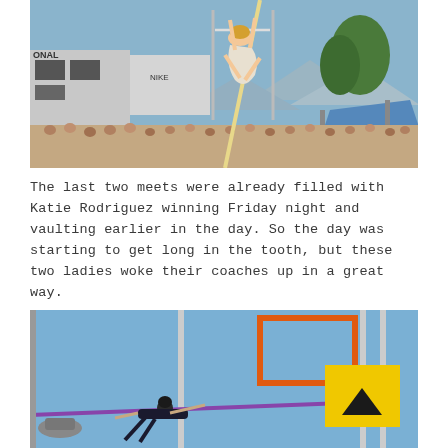[Figure (photo): Athlete performing pole vault at an outdoor track meet. Crowd of spectators in the stands, a Nike building visible in the background, mountains and blue sky. The vaulter is arched upside-down over the bar holding the pole.]
The last two meets were already filled with Katie Rodriguez winning Friday night and vaulting earlier in the day. So the day was starting to get long in the tooth, but these two ladies woke their coaches up in a great way.
[Figure (photo): Athlete at the beginning of a pole vault attempt under a clear blue sky. An orange pole vault crossbar frame is visible. A yellow square with a black arrow/triangle icon is overlaid in the upper right corner of the image.]